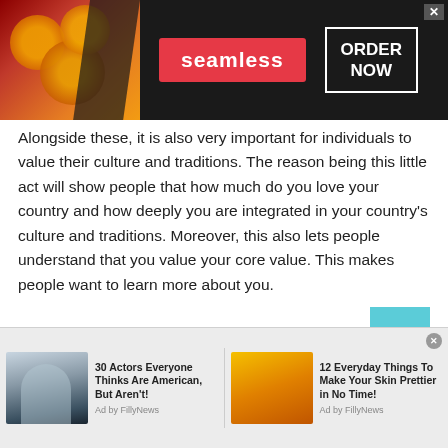[Figure (screenshot): Seamless food delivery advertisement banner with pizza image, red Seamless badge, and ORDER NOW button on dark background]
Alongside these, it is also very important for individuals to value their culture and traditions. The reason being this little act will show people that how much do you love your country and how deeply you are integrated in your country's culture and traditions. Moreover, this also lets people understand that you value your core value. This makes people want to learn more about you.
2. Encourage diversity:
[Figure (screenshot): Bottom ad bar with two sponsored articles: '30 Actors Everyone Thinks Are American, But Aren't!' and '12 Everyday Things To Make Your Skin Prettier in No Time!' by FillyNews]
Ad by FillyNews
Ad by FillyNews